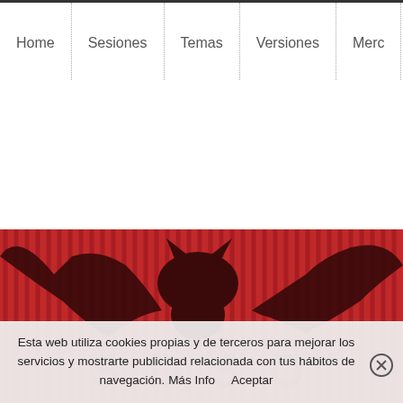Home | Sesiones | Temas | Versiones | Merc
[Figure (illustration): Red and dark red striped background with a large bat silhouette (wings spread, bat body in dark maroon) and partial text in dark red letters below on a red textured surface.]
Esta web utiliza cookies propias y de terceros para mejorar los servicios y mostrarte publicidad relacionada con tus hábitos de navegación. Más Info   Aceptar